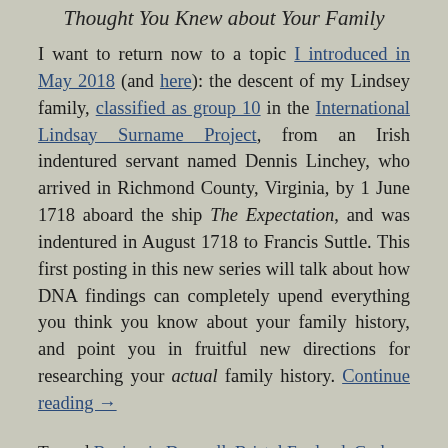Thought You Knew about Your Family
I want to return now to a topic I introduced in May 2018 (and here): the descent of my Lindsey family, classified as group 10 in the International Lindsay Surname Project, from an Irish indentured servant named Dennis Linchey, who arrived in Richmond County, Virginia, by 1 June 1718 aboard the ship The Expectation, and was indentured in August 1718 to Francis Suttle. This first posting in this new series will talk about how DNA findings can completely upend everything you think you know about your family history, and point you in fruitful new directions for researching your actual family history. Continue reading →
Tagged Benjamin Deverell, Bristol England, Cork Ireland,